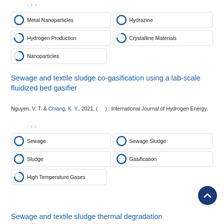: › ›
Metal Nanoparticles
Hydrazine
Hydrogen Production
Crystalline Materials
Nanoparticles
Sewage and textile sludge co-gasification using a lab-scale fluidized bed gasifier
Nguyen, V. T. & Chiang, K. Y., 2021, ( ) : International Journal of Hydrogen Energy.
: › ›
Sewage
Sewage Sludge
Sludge
Gasification
High Temperature Gases
Sewage and textile sludge thermal degradation